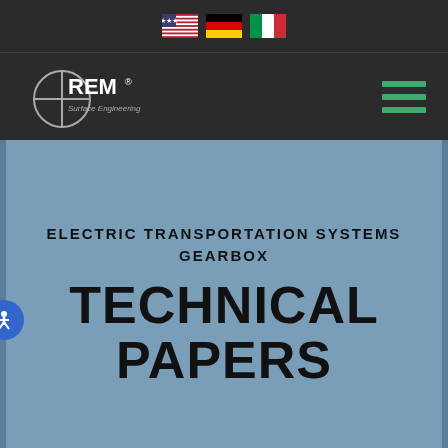REM Surface Engineering — flags bar and navigation
ELECTRIC TRANSPORTATION SYSTEMS GEARBOX
TECHNICAL PAPERS
A COMPARISON OF SURFACE ROUGHNESS
This website uses cookies to improve your experience. We'll assume you're ok with this, but you can opt-out if you wish.
ACCEPT  DECLINE